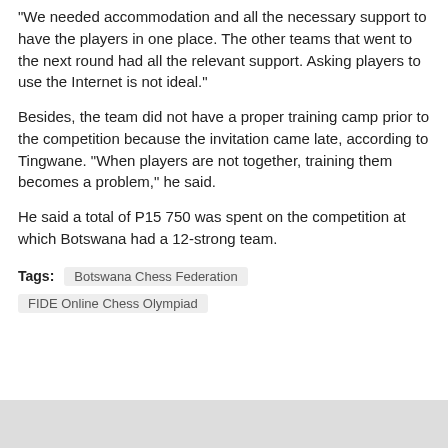“We needed accommodation and all the necessary support to have the players in one place. The other teams that went to the next round had all the relevant support. Asking players to use the Internet is not ideal.”
Besides, the team did not have a proper training camp prior to the competition because the invitation came late, according to Tingwane. “When players are not together, training them becomes a problem,” he said.
He said a total of P15 750 was spent on the competition at which Botswana had a 12-strong team.
Tags: Botswana Chess Federation | FIDE Online Chess Olympiad